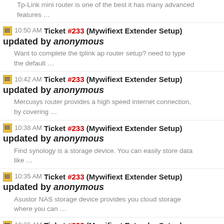Tp-Link mini router is one of the best it has many advanced features …
10:50 AM Ticket #233 (Mywifiext Extender Setup) updated by anonymous
Want to complete the tplink ap router setup? need to type the default …
10:42 AM Ticket #233 (Mywifiext Extender Setup) updated by anonymous
Mercusys router provides a high speed internet connection, by covering …
10:38 AM Ticket #233 (Mywifiext Extender Setup) updated by anonymous
Find synology is a storage device. You can easily store data like …
10:35 AM Ticket #233 (Mywifiext Extender Setup) updated by anonymous
Asustor NAS storage device provides you cloud storage where you can …
10:26 AM Ticket #233 (Mywifiext Extender Setup) updated by anonymous